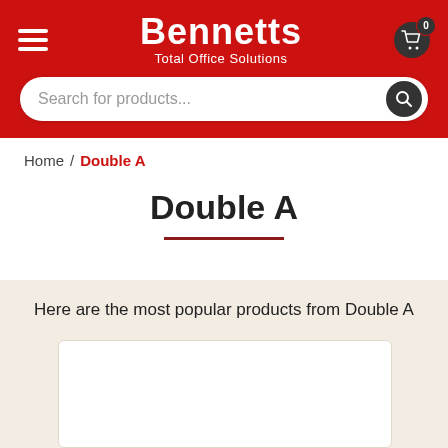Bennetts Total Office Solutions — navigation header with search bar
Home / Double A
Double A
Here are the most popular products from Double A
[Figure (screenshot): Empty white product card placeholder]